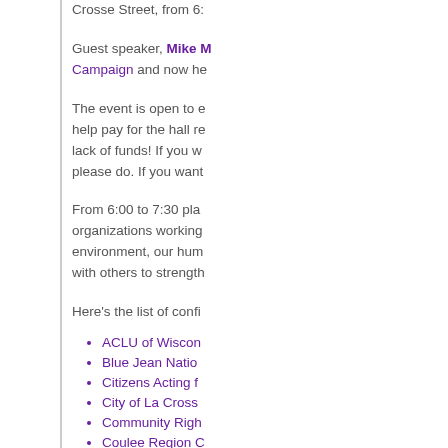Crosse Street, from 6:
Guest speaker, Mike [name] Campaign and now he
The event is open to e... help pay for the hall re... lack of funds! If you w... please do. If you want
From 6:00 to 7:30 pla... organizations working environment, our hum... with others to strength
Here's the list of confi
ACLU of Wiscon
Blue Jean Natio
Citizens Acting f
City of La Cross
Community Righ
Coulee Region C
Coulee Region C